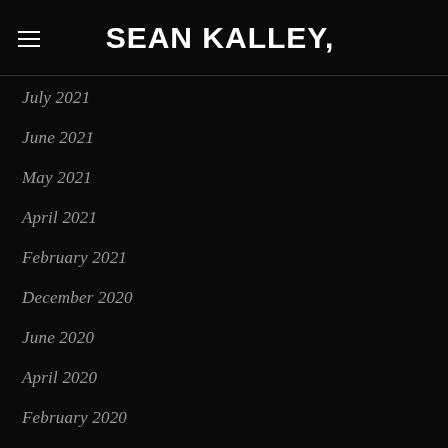SEAN KALLEY,
July 2021
June 2021
May 2021
April 2021
February 2021
December 2020
June 2020
April 2020
February 2020
December 2019
September 2019
August 2019
February 2019
January 2019
December 2018
November 2018
October 2018